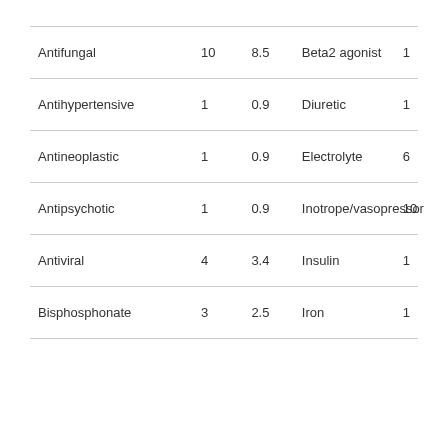| Antifungal | 10 | 8.5 | Beta2 agonist | 1 |
| Antihypertensive | 1 | 0.9 | Diuretic | 1 |
| Antineoplastic | 1 | 0.9 | Electrolyte | 6 |
| Antipsychotic | 1 | 0.9 | Inotrope/vasopressor | 10 |
| Antiviral | 4 | 3.4 | Insulin | 1 |
| Bisphosphonate | 3 | 2.5 | Iron | 1 |